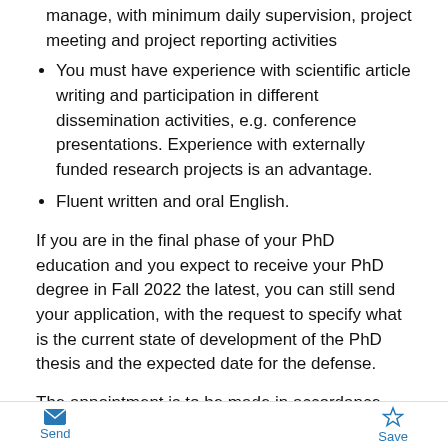manage, with minimum daily supervision, project meeting and project reporting activities
You must have experience with scientific article writing and participation in different dissemination activities, e.g. conference presentations. Experience with externally funded research projects is an advantage.
Fluent written and oral English.
If you are in the final phase of your PhD education and you expect to receive your PhD degree in Fall 2022 the latest, you can still send your application, with the request to specify what is the current state of development of the PhD thesis and the expected date for the defense.
The appointment is to be made in accordance with the regulations in force concerning State